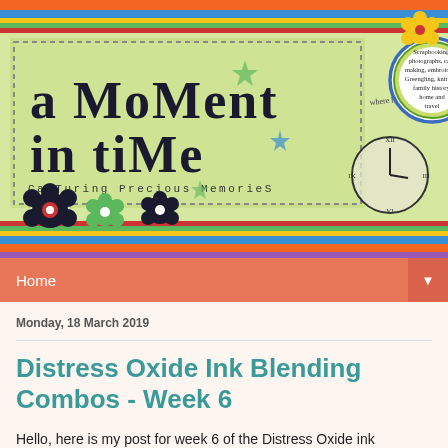[Figure (illustration): Blog header banner reading 'a moment in time – Capturing Precious Memories' with decorative scrapbooking artwork including flowers, stars, a clock, and a circular badge listing crafting hobbies.]
Home ▼
Monday, 18 March 2019
Distress Oxide Ink Blending Combos - Week 6
Hello, here is my post for week 6 of the Distress Oxide ink